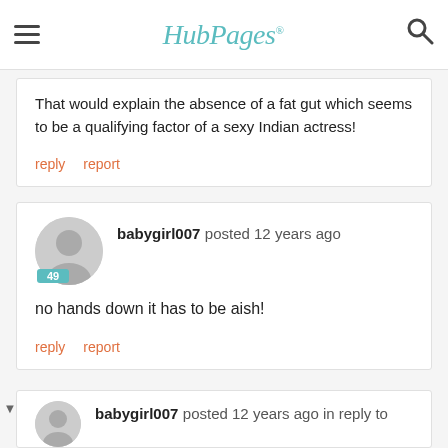HubPages
That would explain the absence of a fat gut which seems to be a qualifying factor of a sexy Indian actress!
reply   report
babygirl007 posted 12 years ago
no hands down it has to be aish!
reply   report
babygirl007 posted 12 years ago in reply to